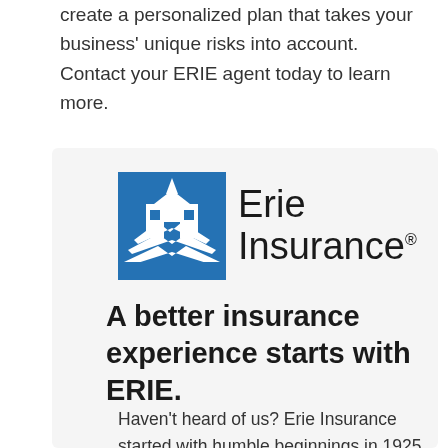create a personalized plan that takes your business' unique risks into account. Contact your ERIE agent today to learn more.
[Figure (logo): Erie Insurance logo — blue building/steeple icon on left, 'Erie Insurance' text with registered trademark symbol on right]
A better insurance experience starts with ERIE.
Haven't heard of us? Erie Insurance started with humble beginnings in 1925 with a mission to